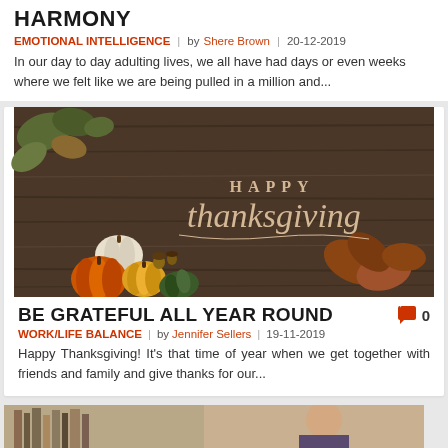HARMONY
EMOTIONAL INTELLIGENCE | by Shere Brown | 20-12-2019
In our day to day adulting lives, we all have had days or even weeks where we felt like we are being pulled in a million and...
[Figure (photo): Happy Thanksgiving photo with pumpkins and autumn leaves on a dark wood background with script text 'Happy Thanksgiving']
BE GRATEFUL ALL YEAR ROUND
WORK/LIFE BALANCE | by Jennifer Sellers | 19-11-2019
Happy Thanksgiving! It's that time of year when we get together with friends and family and give thanks for our...
[Figure (photo): Partial image at bottom of page, appears to be a person in a library or similar setting]